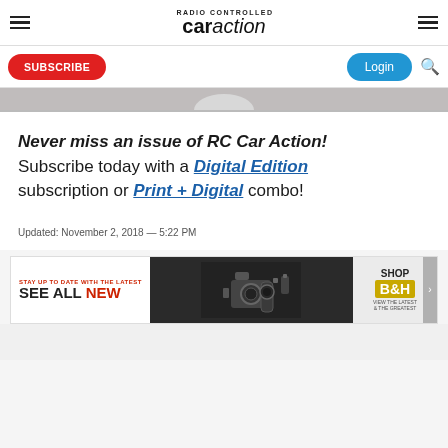RC Car Action
SUBSCRIBE | Login
Never miss an issue of RC Car Action! Subscribe today with a Digital Edition subscription or Print + Digital combo!
Updated: November 2, 2018 — 5:22 PM
[Figure (other): B&H Photo advertisement banner: Stay up to date with the latest, See All New, camera image, Shop, View The Latest & The Greatest, B&H logo]